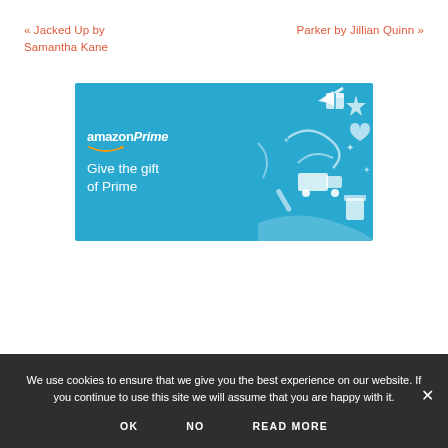« Jacked Up by Samantha Kane
Parker by Jillian Quinn »
[Figure (illustration): Amazon Prime advertisement banner on blue background. Shows 'amazonPrime' logo with Amazon smile, and text 'Give the gift of Prime'. Right side has white illustrated icons of gifts, stars, trucks, confetti.]
We use cookies to ensure that we give you the best experience on our website. If you continue to use this site we will assume that you are happy with it.
OK   NO   READ MORE